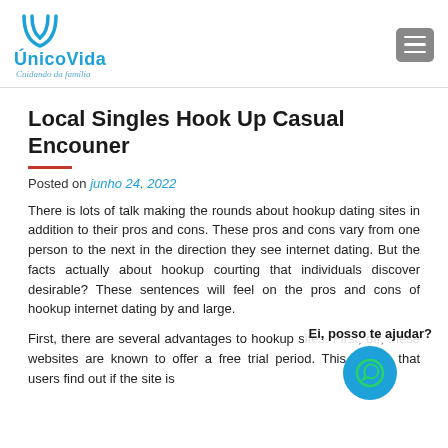ÚnicoVida - Cuidando da família
Local Singles Hook Up Casual Encouner
Posted on junho 24, 2022
There is lots of talk making the rounds about hookup dating sites in addition to their pros and cons. These pros and cons vary from one person to the next in the direction they see internet dating. But the facts actually about hookup courting that individuals discover desirable? These sentences will feel on the pros and cons of hookup internet dating by and large.
Ei, posso te ajudar?
First, there are several advantages to hookup sites. First, off, these websites are known to offer a free trial period. This means that users find out if the site is